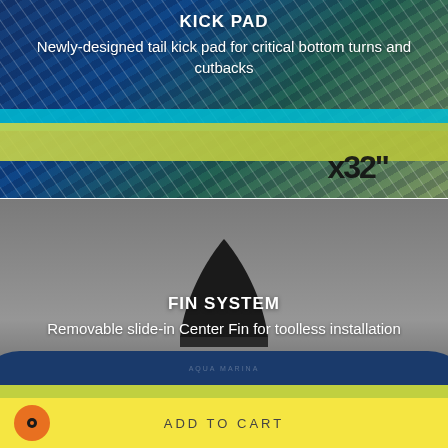[Figure (photo): Close-up photo of a blue and yellow/green stand-up paddleboard showing the tail kick pad with diamond texture grip. The board shows a teal/cyan stripe and yellow-green rail. Text on board reads measurement markings.]
KICK PAD
Newly-designed tail kick pad for critical bottom turns and cutbacks
[Figure (photo): Photo of a stand-up paddleboard fin system shown against a gray background. A single black center fin is mounted on a blue and yellow-green board. The board curves at the bottom.]
FIN SYSTEM
Removable slide-in Center Fin for toolless installation
ADD TO CART